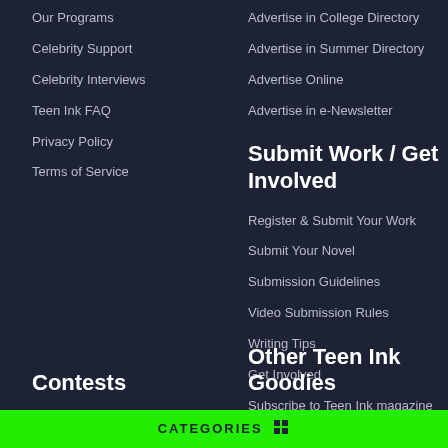Our Programs
Celebrity Support
Celebrity Interviews
Teen Ink FAQ
Privacy Policy
Terms of Service
Advertise in College Directory
Advertise in Summer Directory
Advertise Online
Advertise in e-Newsletter
Submit Work / Get Involved
Register & Submit Your Work
Submit Your Novel
Submission Guidelines
Video Submission Rules
Writing Tips
Get Involved
Subscribe to Teen Ink magazine
Contests
Other Teen Ink Goodies
CATEGORIES